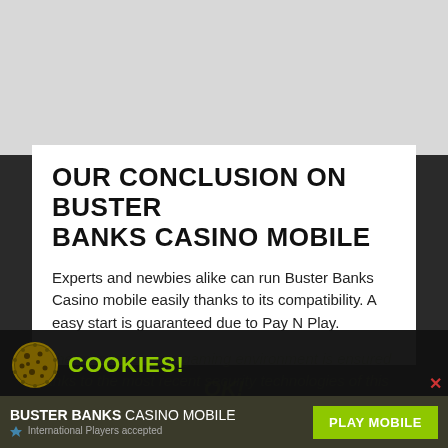OUR CONCLUSION ON BUSTER BANKS CASINO MOBILE
Experts and newbies alike can run Buster Banks Casino mobile easily thanks to its compatibility. A easy start is guaranteed due to Pay N Play.
Furthermore, a secure gaming environment is ensured thanks to the most recent security technologies of this mobile app. Get started and enjoy the welcome bonus using your favourite smartphone!
[Figure (screenshot): Cookie consent banner overlay with cookie icon, COOKIES! heading in green, cookie usage text, and green OK button area]
This website is using cookies to create the best user experience for you. Once you are using our website, you are giving consent to the usage of those cookies.
BUSTER BANKS CASINO MOBILE   PLAY MOBILE   International Players accepted